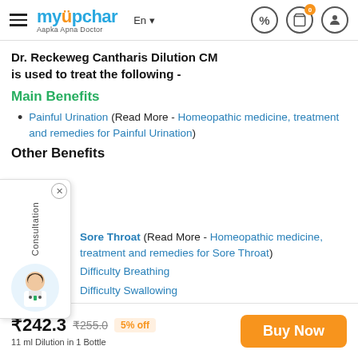myUpchar – Aapka Apna Doctor
Dr. Reckeweg Cantharis Dilution CM is used to treat the following -
Main Benefits
Painful Urination (Read More - Homeopathic medicine, treatment and remedies for Painful Urination)
Other Benefits
Sore Throat (Read More - Homeopathic medicine, treatment and remedies for Sore Throat)
Difficulty Breathing
Difficulty Swallowing
Eczema (Read More - Homeopathic medicine, treatment and remedies for Eczema)
₹242.3  ₹255.0  5% off  Buy Now  11 ml Dilution in 1 Bottle